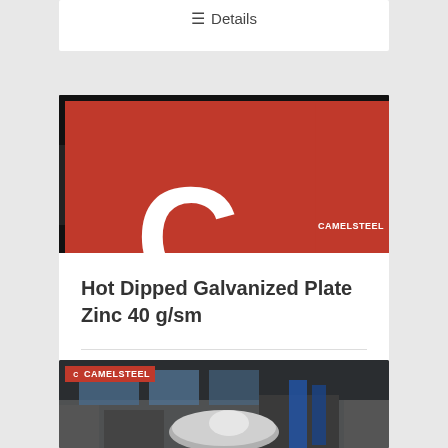≡ Details
[Figure (photo): Steel coil being processed on industrial machinery, with a CamelSteel logo badge in the top-left corner.]
Hot Dipped Galvanized Plate Zinc 40 g/sm
≡ Details
[Figure (photo): Industrial steel coil manufacturing facility with CamelSteel logo badge in top-left corner. Partial image cut off at bottom of page.]